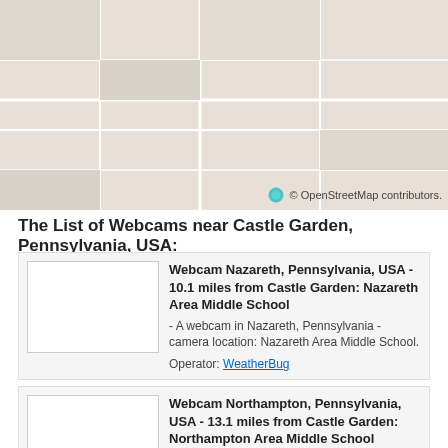[Figure (map): A map area showing the region near Castle Garden, Pennsylvania, USA with OpenStreetMap tiles. Attribution: © OpenStreetMap contributors.]
The List of Webcams near Castle Garden, Pennsylvania, USA:
Webcam Nazareth, Pennsylvania, USA - 10.1 miles from Castle Garden: Nazareth Area Middle School - A webcam in Nazareth, Pennsylvania - camera location: Nazareth Area Middle School. Operator: WeatherBug
Webcam Northampton, Pennsylvania, USA - 13.1 miles from Castle Garden: Northampton Area Middle School - A webcam in Northampton...